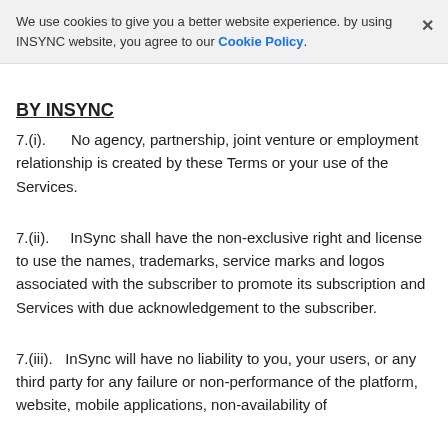We use cookies to give you a better website experience. by using INSYNC website, you agree to our Cookie Policy.
BY INSYNC
7.(i).    No agency, partnership, joint venture or employment relationship is created by these Terms or your use of the Services.
7.(ii).    InSync shall have the non-exclusive right and license to use the names, trademarks, service marks and logos associated with the subscriber to promote its subscription and Services with due acknowledgement to the subscriber.
7.(iii).   InSync will have no liability to you, your users, or any third party for any failure or non-performance of the platform, website, mobile applications, non-availability of